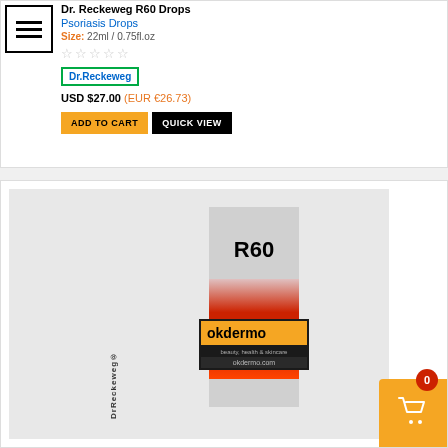Dr. Reckeweg R60 Drops
Psoriasis Drops
Size: 22ml / 0.75fl.oz
Dr.Reckeweg
USD $27.00 (EUR €26.73)
ADD TO CART
QUICK VIEW
[Figure (photo): Product image of Dr. Reckeweg R60 Drops bottle with okdermo.com branding label overlay showing R60 text, red label area, and okdermo logo]
0